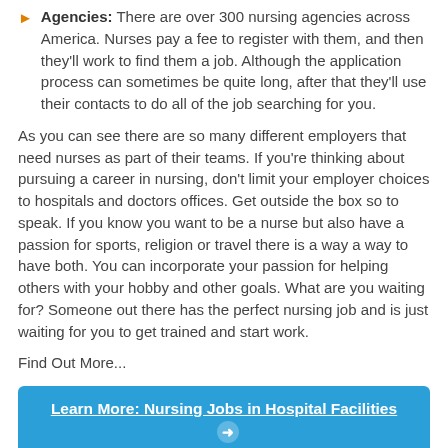Agencies: There are over 300 nursing agencies across America. Nurses pay a fee to register with them, and then they'll work to find them a job. Although the application process can sometimes be quite long, after that they'll use their contacts to do all of the job searching for you.
As you can see there are so many different employers that need nurses as part of their teams. If you're thinking about pursuing a career in nursing, don't limit your employer choices to hospitals and doctors offices. Get outside the box so to speak. If you know you want to be a nurse but also have a passion for sports, religion or travel there is a way a way to have both. You can incorporate your passion for helping others with your hobby and other goals. What are you waiting for? Someone out there has the perfect nursing job and is just waiting for you to get trained and start work.
Find Out More...
Learn More: Nursing Jobs in Hospital Facilities →